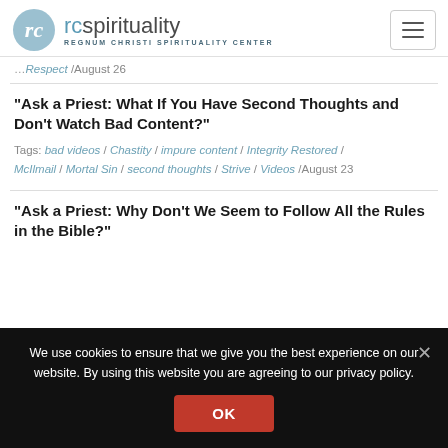rcspirituality — REGNUM CHRISTI SPIRITUALITY CENTER
Respect /August 26
“Ask a Priest: What If You Have Second Thoughts and Don’t Watch Bad Content?”
Tags: bad videos / Chastity / impure content / Integrity Restored / McIlmail / Mortal Sin / second thoughts / Strive / Videos /August 23
“Ask a Priest: Why Don’t We Seem to Follow All the Rules in the Bible?”
We use cookies to ensure that we give you the best experience on our website. By using this website you are agreeing to our privacy policy.